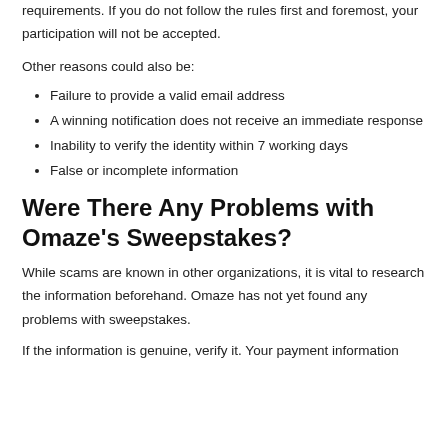requirements. If you do not follow the rules first and foremost, your participation will not be accepted.
Other reasons could also be:
Failure to provide a valid email address
A winning notification does not receive an immediate response
Inability to verify the identity within 7 working days
False or incomplete information
Were There Any Problems with Omaze's Sweepstakes?
While scams are known in other organizations, it is vital to research the information beforehand. Omaze has not yet found any problems with sweepstakes.
If the information is genuine, verify it. Your payment information